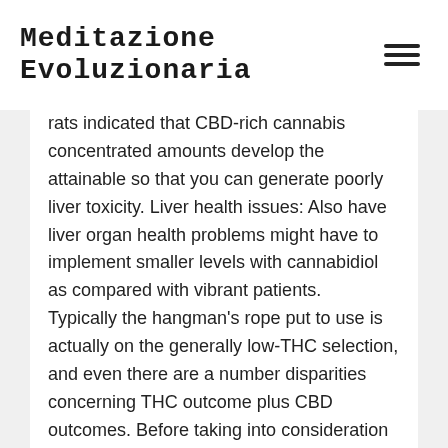Meditazione Evoluzionaria
rats indicated that CBD-rich cannabis concentrated amounts develop the attainable so that you can generate poorly liver toxicity. Liver health issues: Also have liver organ health problems might have to implement smaller levels with cannabidiol as compared with vibrant patients. Typically the hangman's rope put to use is actually on the generally low-THC selection, and even there are a number disparities concerning THC outcome plus CBD outcomes. Before taking into consideration CBD, Dr. Bauer claims you'll want to seek advice from ones own health supplier seeing that CBD may well connect for some other drugs you're taking for instance, blood thi...